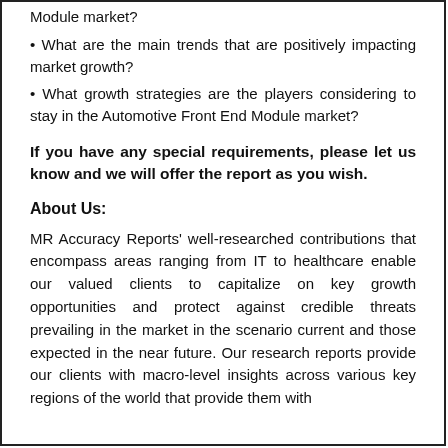Module market?
• What are the main trends that are positively impacting market growth?
• What growth strategies are the players considering to stay in the Automotive Front End Module market?
If you have any special requirements, please let us know and we will offer the report as you wish.
About Us:
MR Accuracy Reports' well-researched contributions that encompass areas ranging from IT to healthcare enable our valued clients to capitalize on key growth opportunities and protect against credible threats prevailing in the market in the scenario current and those expected in the near future. Our research reports provide our clients with macro-level insights across various key regions of the world that provide them with